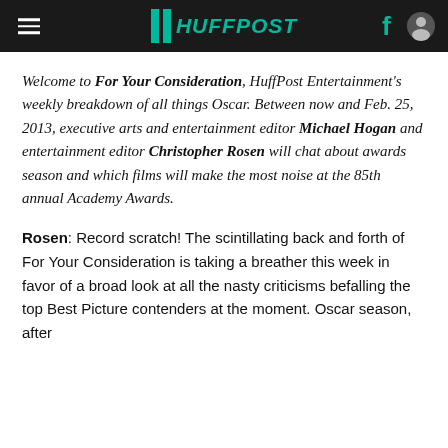HuffPost
Welcome to For Your Consideration, HuffPost Entertainment's weekly breakdown of all things Oscar. Between now and Feb. 25, 2013, executive arts and entertainment editor Michael Hogan and entertainment editor Christopher Rosen will chat about awards season and which films will make the most noise at the 85th annual Academy Awards.
Rosen: Record scratch! The scintillating back and forth of For Your Consideration is taking a breather this week in favor of a broad look at all the nasty criticisms befalling the top Best Picture contenders at the moment. Oscar season, after